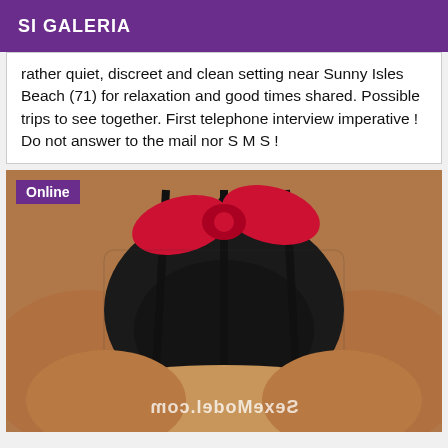SI GALERIA
rather quiet, discreet and clean setting near Sunny Isles Beach (71) for relaxation and good times shared. Possible trips to see together. First telephone interview imperative ! Do not answer to the mail nor S M S !
[Figure (photo): Close-up photo of a person wearing black lace lingerie with a red bow, with a watermark reading SexeModel.com mirrored at the bottom. An 'Online' badge appears in the top-left corner.]